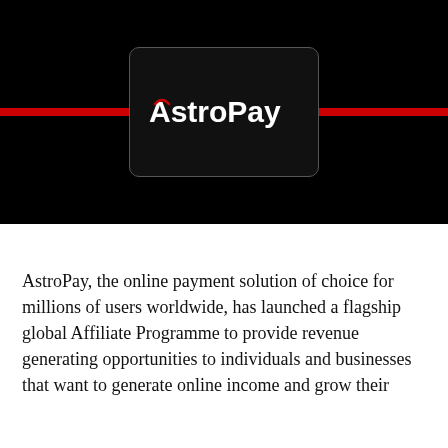[Figure (logo): AstroPay logo displayed on a black card with rounded corners, overlaid on a black background with a red horizontal stripe]
AstroPay, the online payment solution of choice for millions of users worldwide, has launched a flagship global Affiliate Programme to provide revenue generating opportunities to individuals and businesses that want to generate online income and grow their